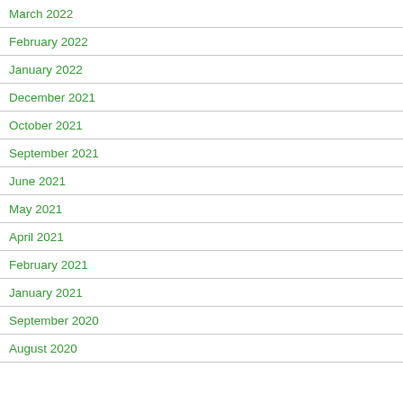March 2022
February 2022
January 2022
December 2021
October 2021
September 2021
June 2021
May 2021
April 2021
February 2021
January 2021
September 2020
August 2020